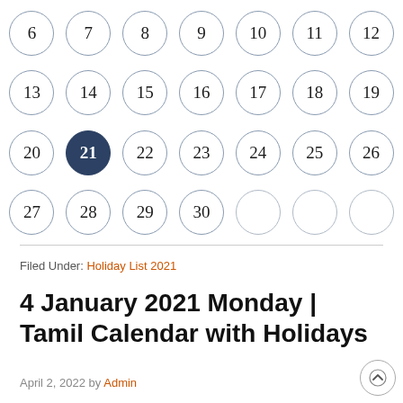[Figure (other): Calendar grid showing days 6-30 arranged in circles, with day 21 highlighted in dark blue]
Filed Under: Holiday List 2021
4 January 2021 Monday | Tamil Calendar with Holidays
April 2, 2022 by Admin